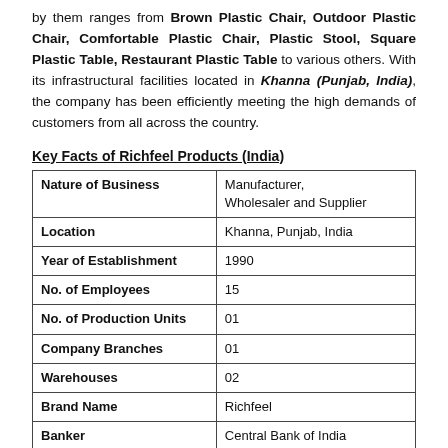by them ranges from Brown Plastic Chair, Outdoor Plastic Chair, Comfortable Plastic Chair, Plastic Stool, Square Plastic Table, Restaurant Plastic Table to various others. With its infrastructural facilities located in Khanna (Punjab, India), the company has been efficiently meeting the high demands of customers from all across the country.
Key Facts of Richfeel Products (India)
|  |  |
| --- | --- |
| Nature of Business | Manufacturer, Wholesaler and Supplier |
| Location | Khanna, Punjab, India |
| Year of Establishment | 1990 |
| No. of Employees | 15 |
| No. of Production Units | 01 |
| Company Branches | 01 |
| Warehouses | 02 |
| Brand Name | Richfeel |
| Banker | Central Bank of India |